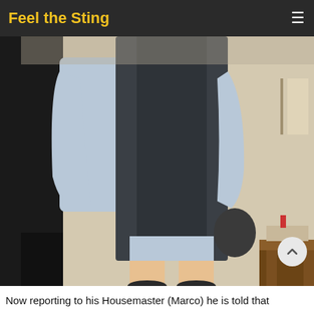Feel the Sting
[Figure (photo): Person viewed from behind wearing dark sweater vest over blue shirt, standing in what appears to be a classroom or office setting with a wooden desk visible on the right.]
Now reporting to his Housemaster (Marco) he is told that